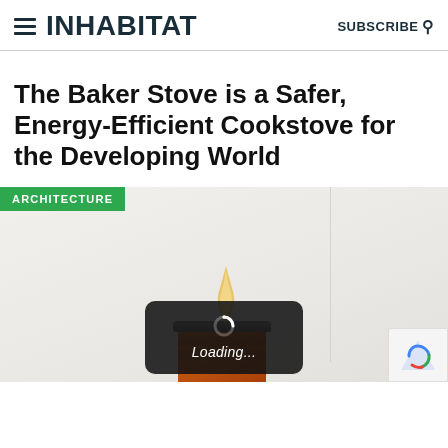INHABITAT | SUBSCRIBE
The Baker Stove is a Safer, Energy-Efficient Cookstove for the Developing World
ARCHITECTURE
[Figure (photo): Photo of the Baker Stove — an orange terracotta-colored cookstove with a flame emerging from the top, photographed against a light grey/white background. A loading overlay with spinner and 'Loading...' text appears at the bottom center of the image.]